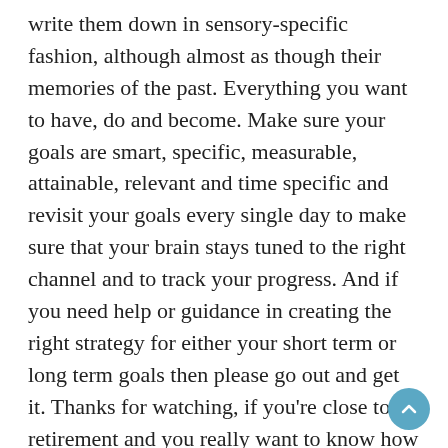write them down in sensory-specific fashion, although almost as though their memories of the past. Everything you want to have, do and become. Make sure your goals are smart, specific, measurable, attainable, relevant and time specific and revisit your goals every single day to make sure that your brain stays tuned to the right channel and to track your progress. And if you need help or guidance in creating the right strategy for either your short term or long term goals then please go out and get it. Thanks for watching, if you’re close to retirement and you really want to know how to protect and maximize your money it’s absolutely essential that you stay informed and up to date. And right here is where you can do it on the income generation, I’m David Scranton and thanks again and see you next week